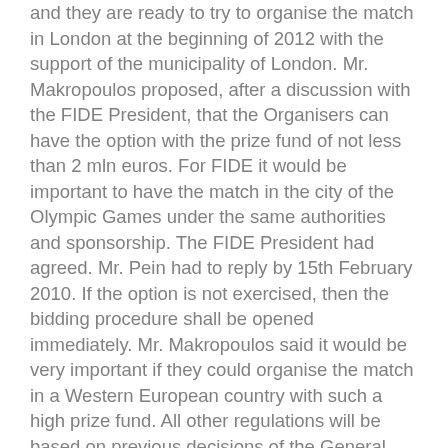and they are ready to try to organise the match in London at the beginning of 2012 with the support of the municipality of London. Mr. Makropoulos proposed, after a discussion with the FIDE President, that the Organisers can have the option with the prize fund of not less than 2 mln euros. For FIDE it would be important to have the match in the city of the Olympic Games under the same authorities and sponsorship. The FIDE President had agreed. Mr. Pein had to reply by 15th February 2010. If the option is not exercised, then the bidding procedure shall be opened immediately. Mr. Makropoulos said it would be very important if they could organise the match in a Western European country with such a high prize fund. All other regulations will be based on previous decisions of the General Assembly. The Presidential Board can decide on any changes, or the President, if there is something extraordinary to be changed.
Executive Board approved, including the proposal of Mr. Makropoulos regarding the